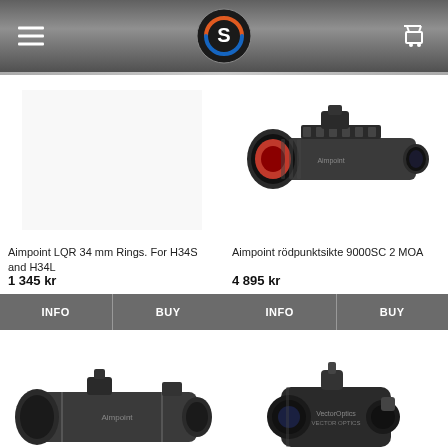Navigation header with menu icon, logo (S), and cart icon
[Figure (photo): Aimpoint LQR 34mm Rings product image (blank/white area)]
Aimpoint LQR 34 mm Rings. For H34S and H34L
1 345 kr
[Figure (photo): Aimpoint rödpunktsikte 9000SC 2 MOA red dot sight, dark grey body with red lens]
Aimpoint rödpunktsikte 9000SC 2 MOA
4 895 kr
[Figure (photo): Aimpoint scope partial image at bottom left]
[Figure (photo): Vector Optics red dot sight partial image at bottom right]